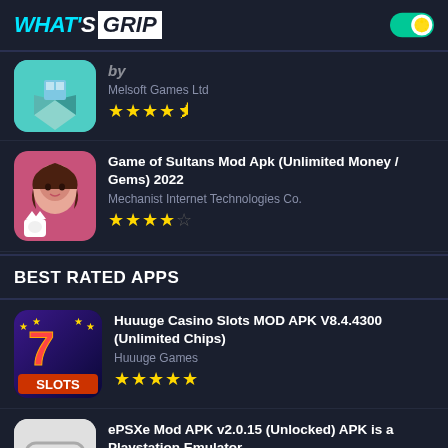WHAT'S GRIP
Melsoft Games Ltd, 4.5 stars (partial entry at top)
Game of Sultans Mod Apk (Unlimited Money / Gems) 2022 — Mechanist Internet Technologies Co. — 4 stars
BEST RATED APPS
Huuuge Casino Slots MOD APK V8.4.4300 (Unlimited Chips) — Huuuge Games — 5 stars
ePSXe Mod APK v2.0.15 (Unlocked) APK is a Playstation Emulator — Epsxe software s.l.